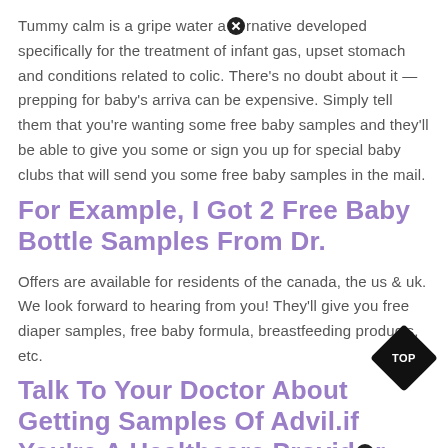Tummy calm is a gripe water alternative developed specifically for the treatment of infant gas, upset stomach and conditions related to colic. There's no doubt about it — prepping for baby's arriva can be expensive. Simply tell them that you're wanting some free baby samples and they'll be able to give you some or sign you up for special baby clubs that will send you some free baby samples in the mail.
For Example, I Got 2 Free Baby Bottle Samples From Dr.
Offers are available for residents of the canada, the us & uk. We look forward to hearing from you! They'll give you free diaper samples, free baby formula, breastfeeding products, etc.
Talk To Your Doctor About Getting Samples Of Advil.if You're A Healthcare Provider. You Can